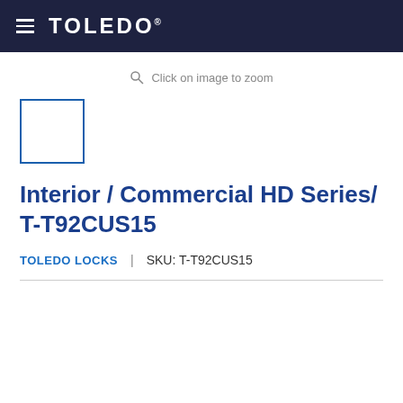Toledo (logo) — navigation header
Click on image to zoom
[Figure (other): Empty product image thumbnail placeholder with blue border]
Interior / Commercial HD Series/ T-T92CUS15
TOLEDO LOCKS | SKU: T-T92CUS15